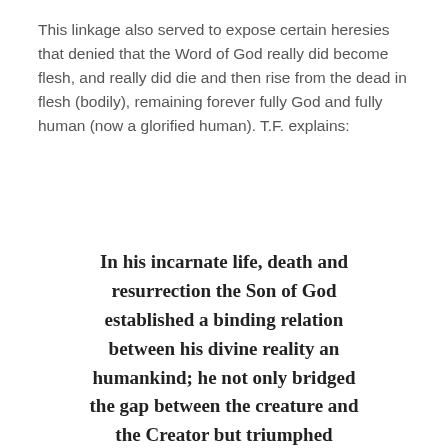This linkage also served to expose certain heresies that denied that the Word of God really did become flesh, and really did die and then rise from the dead in flesh (bodily), remaining forever fully God and fully human (now a glorified human). T.F. explains:
In his incarnate life, death and resurrection the Son of God established a binding relation between his divine reality an humankind; he not only bridged the gap between the creature and the Creator but triumphed completely over the separation between man and God due to